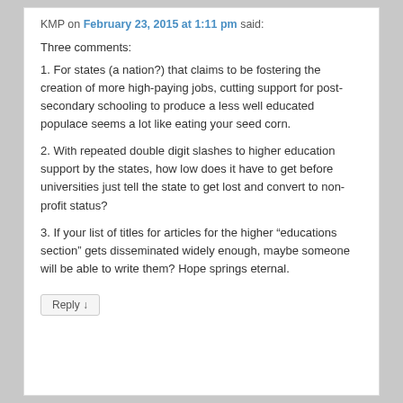KMP on February 23, 2015 at 1:11 pm said:
Three comments:
1. For states (a nation?) that claims to be fostering the creation of more high-paying jobs, cutting support for post-secondary schooling to produce a less well educated populace seems a lot like eating your seed corn.
2. With repeated double digit slashes to higher education support by the states, how low does it have to get before universities just tell the state to get lost and convert to non-profit status?
3. If your list of titles for articles for the higher “educations section” gets disseminated widely enough, maybe someone will be able to write them? Hope springs eternal.
Reply ↓